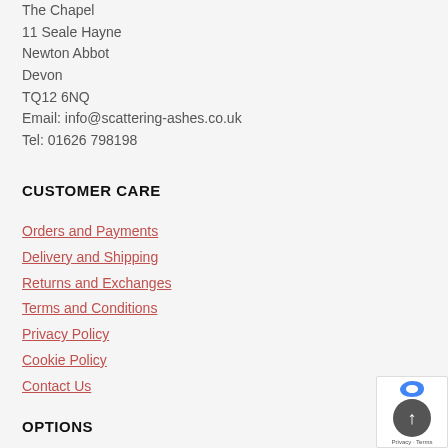The Chapel
11 Seale Hayne
Newton Abbot
Devon
TQ12 6NQ
Email: info@scattering-ashes.co.uk
Tel: 01626 798198
CUSTOMER CARE
Orders and Payments
Delivery and Shipping
Returns and Exchanges
Terms and Conditions
Privacy Policy
Cookie Policy
Contact Us
OPTIONS